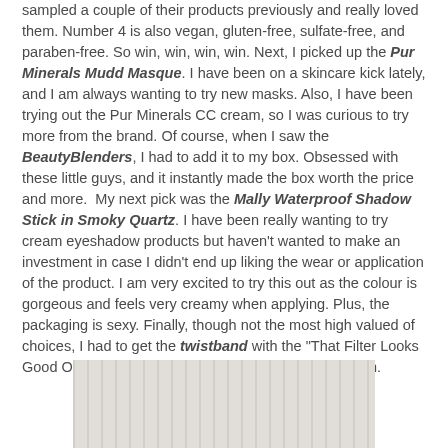sampled a couple of their products previously and really loved them. Number 4 is also vegan, gluten-free, sulfate-free, and paraben-free. So win, win, win, win. Next, I picked up the Pur Minerals Mudd Masque. I have been on a skincare kick lately, and I am always wanting to try new masks. Also, I have been trying out the Pur Minerals CC cream, so I was curious to try more from the brand. Of course, when I saw the BeautyBlenders, I had to add it to my box. Obsessed with these little guys, and it instantly made the box worth the price and more. My next pick was the Mally Waterproof Shadow Stick in Smoky Quartz. I have been really wanting to try cream eyeshadow products but haven't wanted to make an investment in case I didn't end up liking the wear or application of the product. I am very excited to try this out as the colour is gorgeous and feels very creamy when applying. Plus, the packaging is sexy. Finally, though not the most high valued of choices, I had to get the twistband with the "That Filter Looks Good On You" design, being as insta-obsessed as I am.
[Figure (photo): A partially visible photo showing what appears to be fabric or textile with vertical stripe patterns in light gray and white tones.]